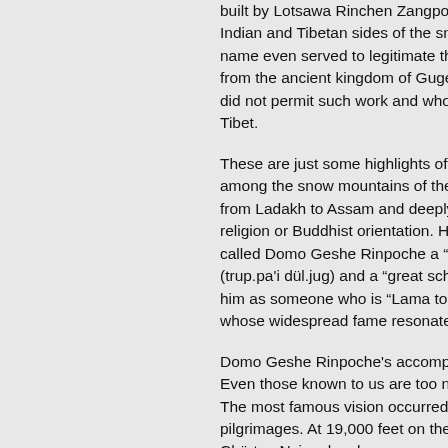built by Lotsawa Rinchen Zangpo, and other temples on both the Indian and Tibetan sides of the snow mountains. His Rinpoche's name even served to legitimate the work of restoring temples from the ancient kingdom of Guge by two foreign scholars who did not permit such work and who were in control of Western Tibet.
These are just some highlights of Domo Geshe Rinpoche's life among the snow mountains of the Himalayas. He is well known from Ladakh to Assam and deeply respected by people of any religion or Buddhist orientation. His Holiness the Dalai Lama called Domo Geshe Rinpoche a "realized one" (trup.pa'i dül.jug) and a "great scholar" (kä.chen) and described him as someone who is "Lama to people inside and outside" whose widespread fame resonates like the
Domo Geshe Rinpoche's accomplishments are not limited here. Even those known to us are too numerous to list in this book. The most famous vision occurred on one of his many sacred pilgrimages. At 19,000 feet on the northern slope of Mt. Everest, Chörten Nyima has been a very special holy place for disciples of Padma Sambhava. It is considered the "c